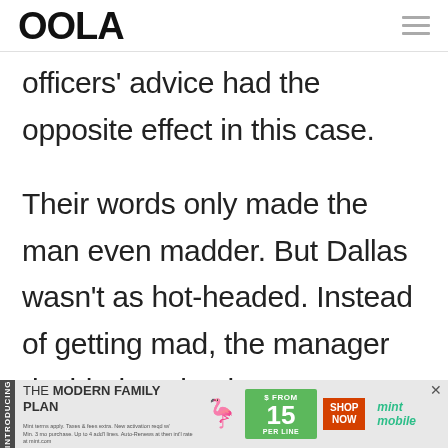OOLA
officers' advice had the opposite effect in this case.
Their words only made the man even madder. But Dallas wasn't as hot-headed. Instead of getting mad, the manager decided to simply get even instead.
[Figure (other): Mint Mobile advertisement banner: 'THE MODERN FAMILY PLAN FROM $15/MO PER LINE SHOP NOW']